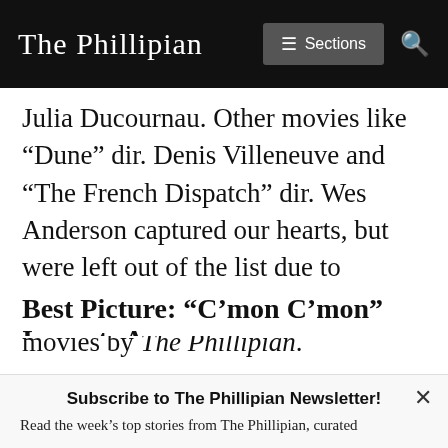The Phillipian | Sections | Search
Julia Ducournau. Other movies like “Dune” dir. Denis Villeneuve and “The French Dispatch” dir. Wes Anderson captured our hearts, but were left out of the list due to existing reviews dedicated to those movies by The Phillipian.
Best Picture: “C’mon C’mon” Imparts A
Subscribe to The Phillipian Newsletter!
Read the week’s top stories from The Phillipian, curated